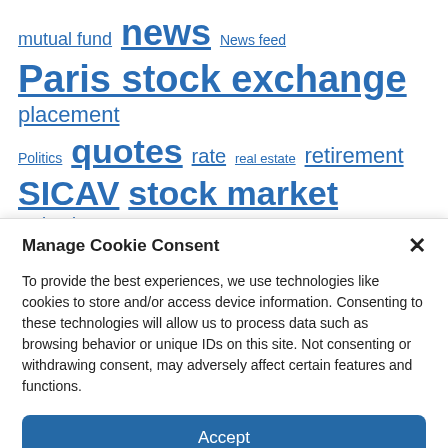[Figure (other): Tag cloud with financial/investment topic links in various font sizes, all in blue underlined text: mutual fund, news, News feed, Paris stock exchange, placement, Politics, quotes, rate, real estate, retirement, SICAV, stock market, technology, Thread, trackers, training, Twitter]
Manage Cookie Consent
To provide the best experiences, we use technologies like cookies to store and/or access device information. Consenting to these technologies will allow us to process data such as browsing behavior or unique IDs on this site. Not consenting or withdrawing consent, may adversely affect certain features and functions.
Accept
Cookie Policy